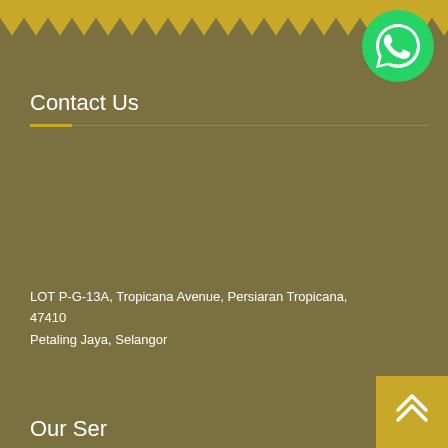[Figure (other): Top decorative golden band with white zigzag/chevron pattern along the bottom edge]
[Figure (other): WhatsApp icon — green circle with white speech bubble phone icon, positioned top right]
Contact Us
LOT P-G-13A, Tropicana Avenue, Persiaran Tropicana, 47410 Petaling Jaya, Selangor
Our Ser...
[Figure (other): Scroll-to-top button — golden/yellow square with upward double chevron arrow, bottom right corner]